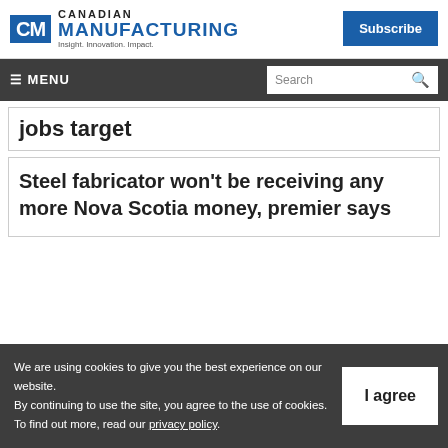[Figure (logo): Canadian Manufacturing logo with CM icon in blue square, CANADIAN text, MANUFACTURING in large blue, tagline: Insight. Innovation. Impact.]
Subscribe
≡ MENU  Search
jobs target
Steel fabricator won't be receiving any more Nova Scotia money, premier says
We are using cookies to give you the best experience on our website.
By continuing to use the site, you agree to the use of cookies.
To find out more, read our privacy policy.
I agree